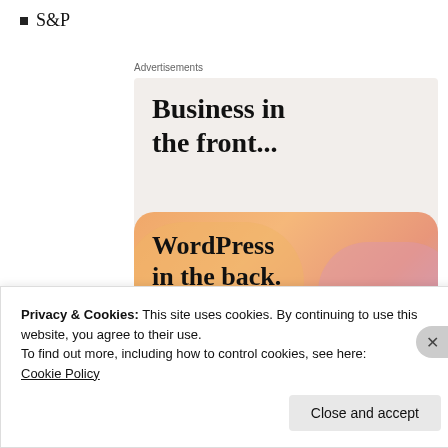S&P
Advertisements
[Figure (illustration): Advertisement banner: 'Business in the front... WordPress in the back.' with WordPress VIP logo and 'Learn more →' button on a peach/gradient background.]
Privacy & Cookies: This site uses cookies. By continuing to use this website, you agree to their use.
To find out more, including how to control cookies, see here:
Cookie Policy
Close and accept